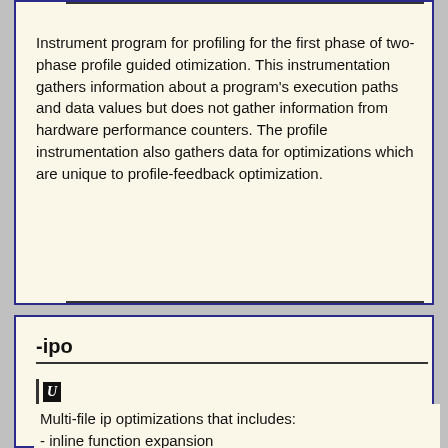Instrument program for profiling for the first phase of two-phase profile guided otimization. This instrumentation gathers information about a program's execution paths and data values but does not gather information from hardware performance counters. The profile instrumentation also gathers data for optimizations which are unique to profile-feedback optimization.
-ipo
Found In: PASS2_CFLAGS, PASS2_LDCFLAGS
Multi-file ip optimizations that includes:
- inline function expansion